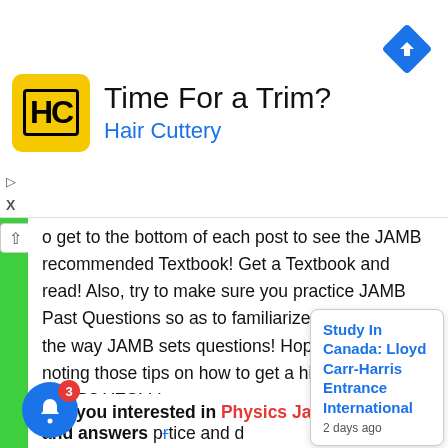[Figure (screenshot): Ad banner for Hair Cuttery: logo (HC in yellow square), title 'Time For a Trim?', subtitle 'Hair Cuttery', navigation arrow icon top right, ad markers (triangle and X) on left]
o get to the bottom of each post to see the JAMB recommended Textbook! Get a Textbook and read! Also, try to make sure you practice JAMB Past Questions so as to familiarize yourself with the way JAMB sets questions! Hope you are noting those tips on how to get a high score in JAMB? YES! I know you are very smart!!!
Are you interested in Physics Jamb past Questions and answers [practice and d...
Study In Canada: Lloyd Carr-Harris Entrance International
2 days ago